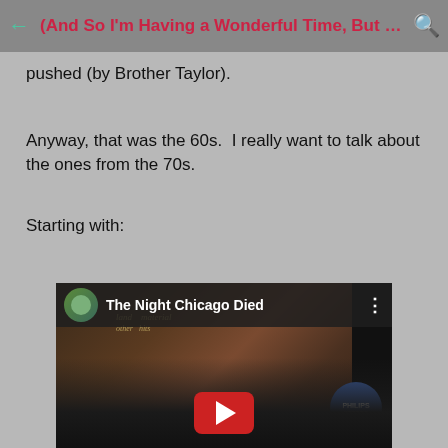(And So I'm Having a Wonderful Time, But I...
pushed (by Brother Taylor).
Anyway, that was the 60s.  I really want to talk about the ones from the 70s.
Starting with:
[Figure (screenshot): Embedded YouTube video thumbnail showing 'The Night Chicago Died' with a band photo album cover (Paper Lace) and a Philips vinyl record. The video player shows the channel icon, video title, and a red play button.]